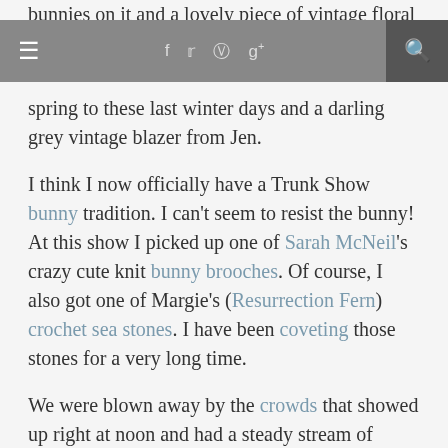bunnies on it and a lovely piece of vintage floral
≡   f  t  p  g+   🔍
spring to these last winter days and a darling grey vintage blazer from Jen.
I think I now officially have a Trunk Show bunny tradition. I can't seem to resist the bunny! At this show I picked up one of Sarah McNeil's crazy cute knit bunny brooches. Of course, I also got one of Margie's (Resurrection Fern) crochet sea stones. I have been coveting those stones for a very long time.
We were blown away by the crowds that showed up right at noon and had a steady stream of people until we started closing up the trunks at 5pm. It was pretty incredible and exciting.
We got a lot of great press for this show, including that lovely article in the Toronto Star and mentions